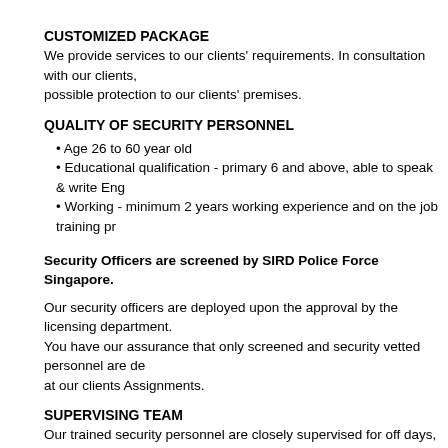CUSTOMIZED PACKAGE
We provide services to our clients' requirements. In consultation with our clients, possible protection to our clients' premises.
QUALITY OF SECURITY PERSONNEL
Age 26 to 60 year old
Educational qualification - primary 6 and above, able to speak & write Eng
Working - minimum 2 years working experience and on the job training pr
Security Officers are screened by SIRD Police Force Singapore.
Our security officers are deployed upon the approval by the licensing department. You have our assurance that only screened and security vetted personnel are de at our clients Assignments.
SUPERVISING TEAM
Our trained security personnel are closely supervised for off days, public holidays team of security personnel to provide efficient and effective backup services.
PUBLIC LIABILITY
Our clients have our assurance of a PUBLIC LIABILITY of $1,000,000.00 (Singa
OUR COMPREHENSIVE PACKAGE BENEFITS
Our clients can enjoy the following valued benefits that come with our interactive